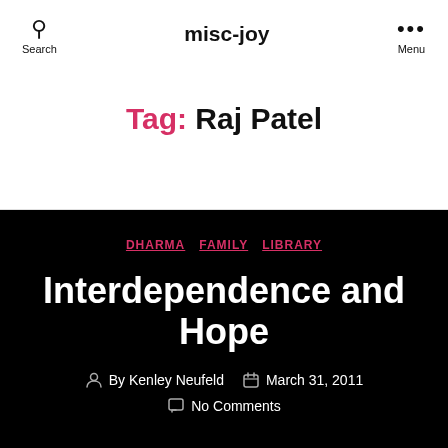misc-joy
Tag: Raj Patel
DHARMA  FAMILY  LIBRARY
Interdependence and Hope
By Kenley Neufeld  March 31, 2011  No Comments